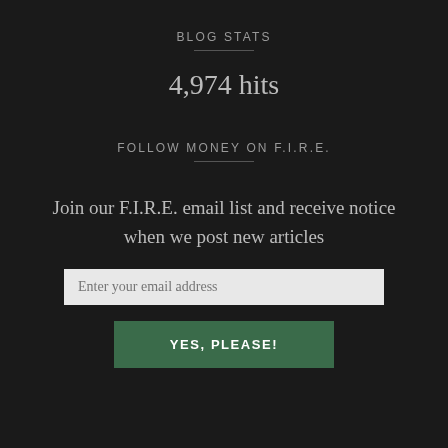BLOG STATS
4,974 hits
FOLLOW MONEY ON F.I.R.E.
Join our F.I.R.E. email list and receive notice when we post new articles
Enter your email address
YES, PLEASE!